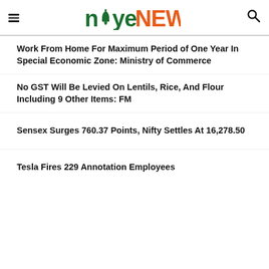noye NEWS
Work From Home For Maximum Period of One Year In Special Economic Zone: Ministry of Commerce
No GST Will Be Levied On Lentils, Rice, And Flour Including 9 Other Items: FM
Sensex Surges 760.37 Points, Nifty Settles At 16,278.50
Tesla Fires 229 Annotation Employees